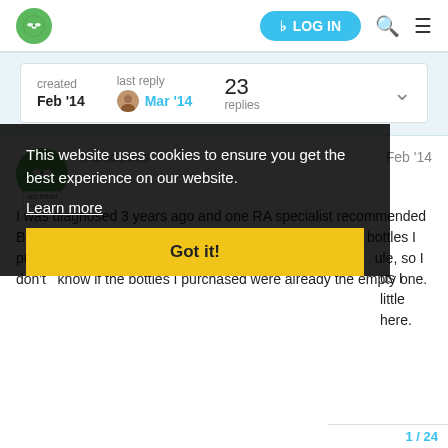Navigation bar with logo, LOG IN button, search and menu icons
| created | last reply | 23 replies |
| --- | --- | --- |
| Feb '14 | Mar '14 |  |
[Figure (photo): User avatar for SGoddess - circular green logo with butterfly/clover icon, with badge label 'ra's friend']
SGoddess
Feb '14
I was diagnosed 3 years ago and one RA specialist recommended Biotene products and they were a joke the bottles I purchased were already the empty one. I like Omega3, Flaxseed Oil and Cod Liver Oil daily, plus I take a tepon green... all green vegies and a little fish, more to help with inflammation which is pretty bad here.
This website uses cookies to ensure you get the best experience on our website.
Learn more
Got it!
1 / 24